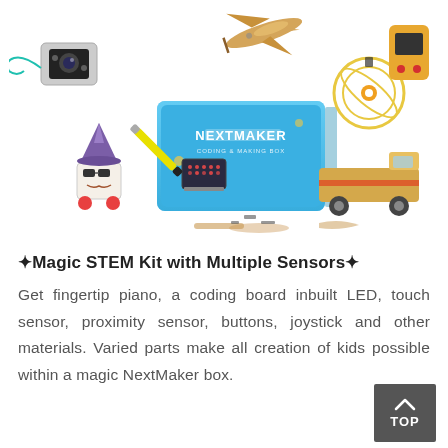[Figure (photo): NextMaker Coding & Making Box product photo showing various STEM kit components: wooden model kits (airplane, car, robot, Ferris wheel), micro:bit coding board, sensors, markers, and the blue NextMaker box, arranged in a flat-lay style on white background.]
✦Magic STEM Kit with Multiple Sensors✦
Get fingertip piano, a coding board inbuilt LED, touch sensor, proximity sensor, buttons, joystick and other materials. Varied parts make all creation of kids possible within a magic NextMaker box.